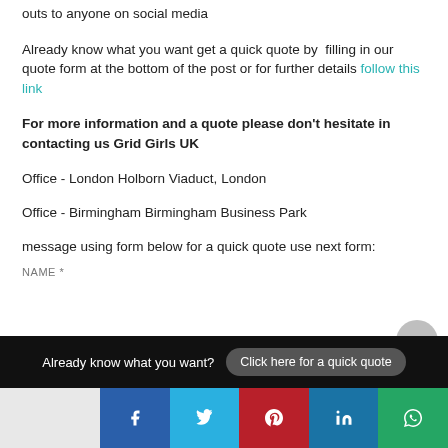outs to anyone on social media
Already know what you want get a quick quote by filling in our quote form at the bottom of the post or for further details follow this link
For more information and a quote please don't hesitate in contacting us Grid Girls UK
Office - London Holborn Viaduct, London
Office - Birmingham Birmingham Business Park
message using form below for a quick quote use next form:
NAME *
Already know what you want? Click here for a quick quote